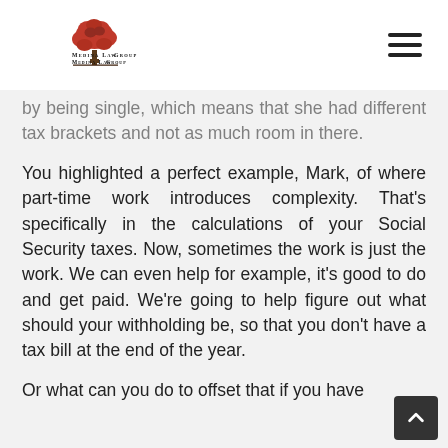Medina Law Group
by being single, which means that she had different tax brackets and not as much room in there.
You highlighted a perfect example, Mark, of where part-time work introduces complexity. That's specifically in the calculations of your Social Security taxes. Now, sometimes the work is just the work. We can even help for example, it's good to do and get paid. We're going to help figure out what should your withholding be, so that you don't have a tax bill at the end of the year.
Or what can you do to offset that if you have